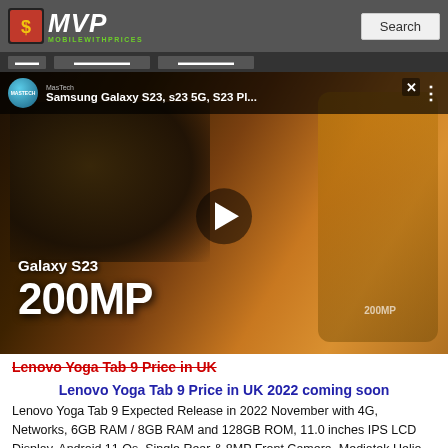MVP MobileWithPrices — Search
[Figure (screenshot): YouTube video thumbnail showing Samsung Galaxy S23 200MP camera, with title 'Samsung Galaxy S23, s23 5G, S23 Pl...' and a play button overlay. Channel logo for MasTech is visible.]
Lenovo Yoga Tab 9 Price in UK (struck-through red link)
Lenovo Yoga Tab 9 Price in UK 2022 coming soon
Lenovo Yoga Tab 9 Expected Release in 2022 November with 4G, Networks, 6GB RAM / 8GB RAM and 128GB ROM, 11.0 inches IPS LCD Display, Android 11 Os, Single Rear & 8MP Front Camera, Mediatek Helio G95 Chipset, Octa-core CPU, 8000 mAh Li-Po...